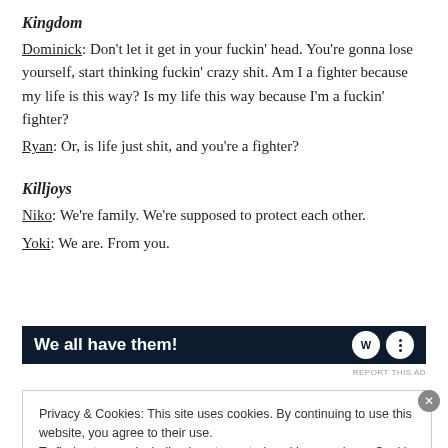Kingdom
Dominick: Don't let it get in your fuckin' head. You're gonna lose yourself, start thinking fuckin' crazy shit. Am I a fighter because my life is this way? Is my life this way because I'm a fuckin' fighter?
Ryan: Or, is life just shit, and you're a fighter?
Killjoys
Niko: We're family. We're supposed to protect each other.
Yoki: We are. From you.
[Figure (screenshot): Dark navy advertisement banner with text 'We all have them!' in white bold font, with circular logo icons on the right side.]
Privacy & Cookies: This site uses cookies. By continuing to use this website, you agree to their use.
To find out more, including how to control cookies, see here: Cookie Policy
Close and accept